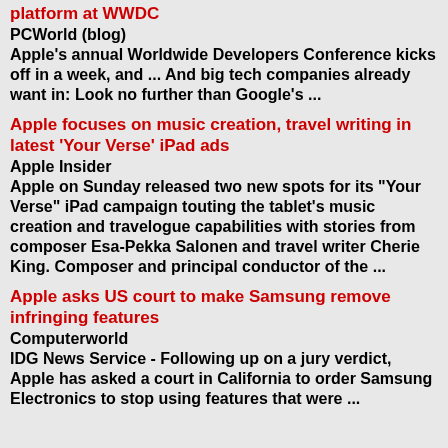platform at WWDC
PCWorld (blog)
Apple's annual Worldwide Developers Conference kicks off in a week, and ... And big tech companies already want in: Look no further than Google's ...
Apple focuses on music creation, travel writing in latest 'Your Verse' iPad ads
Apple Insider
Apple on Sunday released two new spots for its "Your Verse" iPad campaign touting the tablet's music creation and travelogue capabilities with stories from composer Esa-Pekka Salonen and travel writer Cherie King. Composer and principal conductor of the ...
Apple asks US court to make Samsung remove infringing features
Computerworld
IDG News Service - Following up on a jury verdict, Apple has asked a court in California to order Samsung Electronics to stop using features that were ...